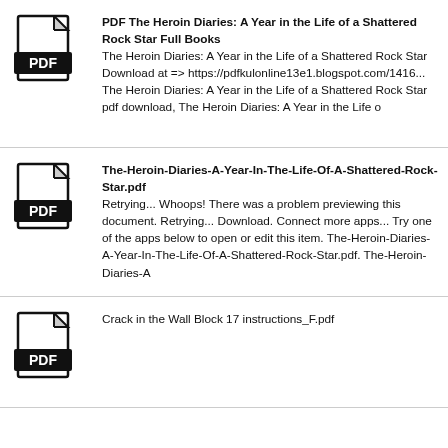PDF The Heroin Diaries: A Year in the Life of a Shattered Rock Star Full Books
The Heroin Diaries: A Year in the Life of a Shattered Rock Star Download at => https://pdfkulonline13e1.blogspot.com/1416... The Heroin Diaries: A Year in the Life of a Shattered Rock Star pdf download, The Heroin Diaries: A Year in the Life o
The-Heroin-Diaries-A-Year-In-The-Life-Of-A-Shattered-Rock-Star.pdf
Retrying... Whoops! There was a problem previewing this document. Retrying... Download. Connect more apps... Try one of the apps below to open or edit this item. The-Heroin-Diaries-A-Year-In-The-Life-Of-A-Shattered-Rock-Star.pdf. The-Heroin-Diaries-A
Crack in the Wall Block 17 instructions_F.pdf